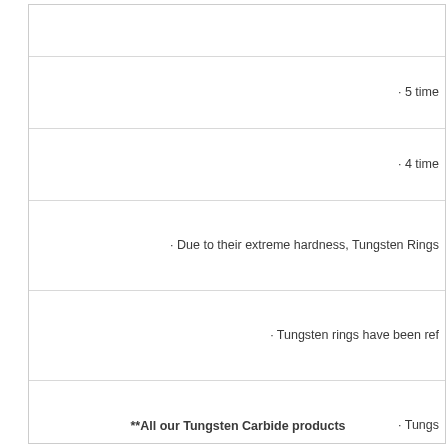· 5 time
· 4 time
· Due to their extreme hardness, Tungsten Rings
· Tungsten rings have been ref
· Tungs
**All our Tungsten Carbide products